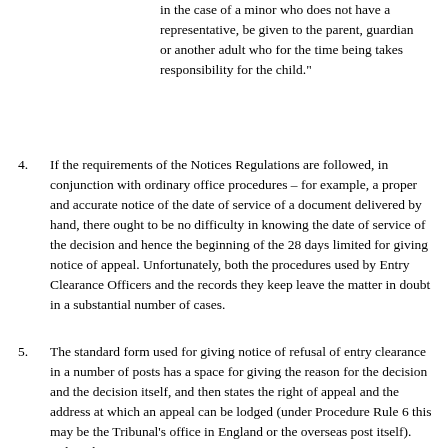in the case of a minor who does not have a representative, be given to the parent, guardian or another adult who for the time being takes responsibility for the child."
4. If the requirements of the Notices Regulations are followed, in conjunction with ordinary office procedures – for example, a proper and accurate notice of the date of service of a document delivered by hand, there ought to be no difficulty in knowing the date of service of the decision and hence the beginning of the 28 days limited for giving notice of appeal. Unfortunately, both the procedures used by Entry Clearance Officers and the records they keep leave the matter in doubt in a substantial number of cases.
5. The standard form used for giving notice of refusal of entry clearance in a number of posts has a space for giving the reason for the decision and the decision itself, and then states the right of appeal and the address at which an appeal can be lodged (under Procedure Rule 6 this may be the Tribunal's office in England or the overseas post itself). Below that is